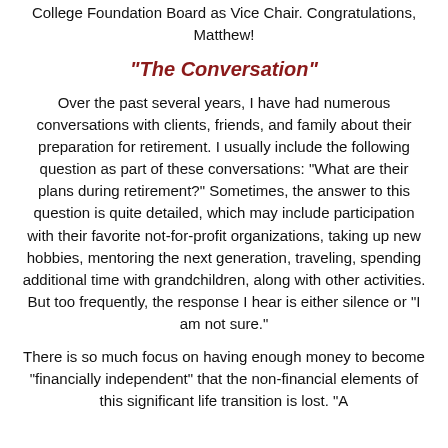College Foundation Board as Vice Chair. Congratulations, Matthew!
“The Conversation”
Over the past several years, I have had numerous conversations with clients, friends, and family about their preparation for retirement. I usually include the following question as part of these conversations: “What are their plans during retirement?” Sometimes, the answer to this question is quite detailed, which may include participation with their favorite not-for-profit organizations, taking up new hobbies, mentoring the next generation, traveling, spending additional time with grandchildren, along with other activities. But too frequently, the response I hear is either silence or “I am not sure.”
There is so much focus on having enough money to become “financially independent” that the non-financial elements of this significant life transition is lost. “A